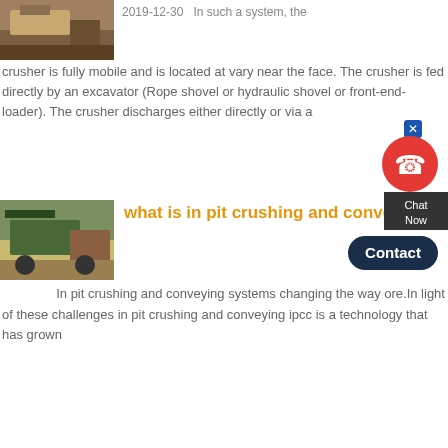[Figure (photo): Mining/crushing equipment photo at top left]
2019-12-30   In such a system, the crusher is fully mobile and is located at vary near the face. The crusher is fed directly by an excavator (Rope shovel or hydraulic shovel or front-end-loader). The crusher discharges either directly or via a
[Figure (screenshot): Chat widget with contact button overlay]
[Figure (photo): In-pit crushing and conveying equipment at a mine site]
what is in pit crushing and conveyor
In pit crushing and conveying systems changing the way ore.In light of these challenges in pit crushing and conveying ipcc is a technology that has grown